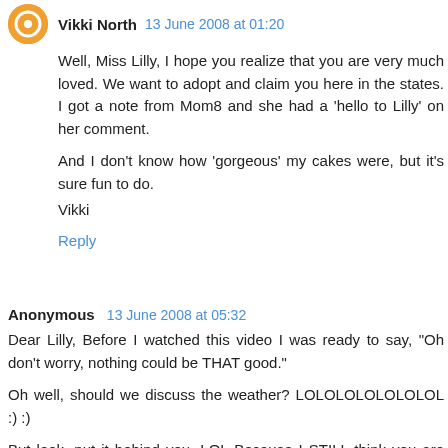Vikki North  13 June 2008 at 01:20
Well, Miss Lilly, I hope you realize that you are very much loved. We want to adopt and claim you here in the states. I got a note from Mom8 and she had a 'hello to Lilly' on her comment.

And I don't know how 'gorgeous' my cakes were, but it's sure fun to do.
Vikki
Reply
Anonymous  13 June 2008 at 05:32
Dear Lilly, Before I watched this video I was ready to say, "Oh don't worry, nothing could be THAT good."

Oh well, should we discuss the weather? LOLOLOLOLOLOLOL :) :)

But look, put it behind you. LOL Because I STILL think you are the bomb Lilly! Girl, in my eyes you are THE BEST!!!